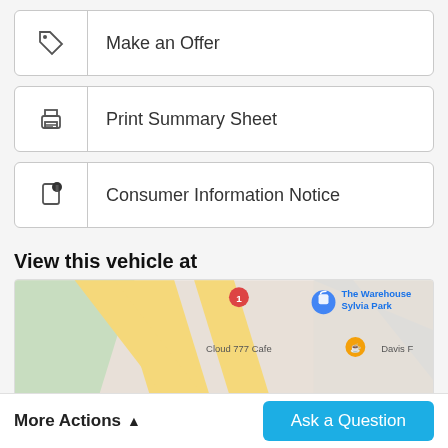Make an Offer
Print Summary Sheet
Consumer Information Notice
View this vehicle at
[Figure (map): Street map showing area near Sylvia Park, with The Warehouse Sylvia Park, Cloud 777 Cafe, Davis Fo... and Lightbulb labels visible on a Google Maps style map.]
More Actions
Ask a Question